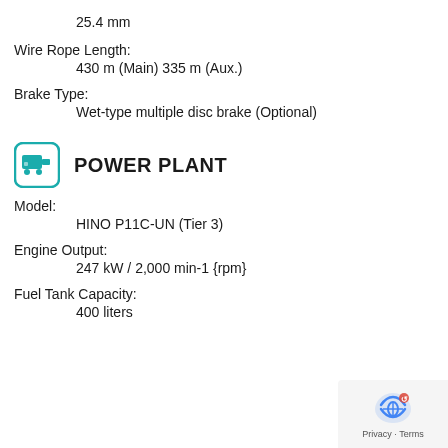25.4 mm
Wire Rope Length:
430 m (Main) 335 m (Aux.)
Brake Type:
Wet-type multiple disc brake (Optional)
POWER PLANT
Model:
HINO P11C-UN (Tier 3)
Engine Output:
247 kW / 2,000 min-1 {rpm}
Fuel Tank Capacity:
400 liters